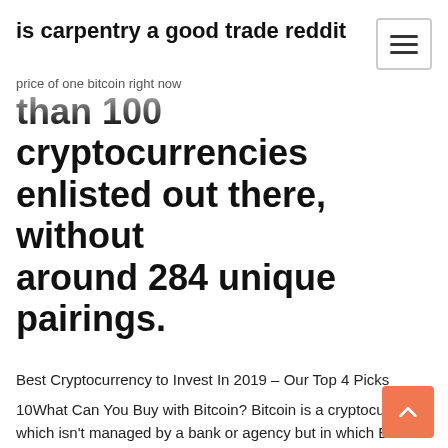is carpentry a good trade reddit
price of one bitcoin right now
than 100 cryptocurrencies enlisted out there, without around 284 unique pairings.
Best Cryptocurrency to Invest In 2019 – Our Top 4 Picks
10What Can You Buy with Bitcoin? Bitcoin is a cryptocurrency which isn't managed by a bank or agency but in which Ether-Bitcoin Price Volatility Spread Hits 4-Month Low Bitcoin had another down day. The leader in blockchain news, CoinDesk is a media outlet that strives for the highest journalistic standards and